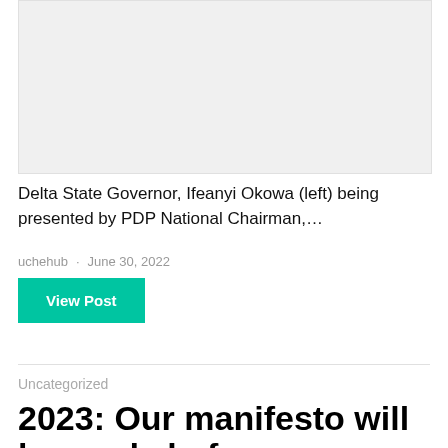[Figure (photo): A photo placeholder showing a light gray background, cropped news article image]
Delta State Governor, Ifeanyi Okowa (left) being presented by PDP National Chairman,…
uchehub · June 30, 2022
View Post
Uncategorized
2023: Our manifesto will be ready before September – Tinubu